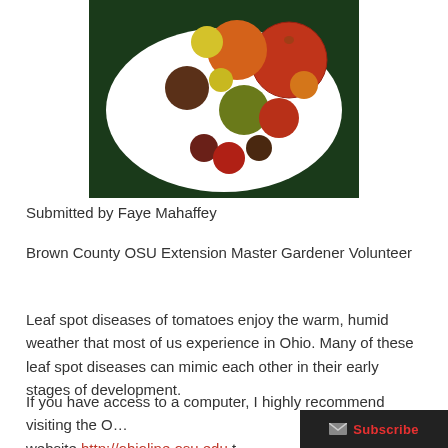[Figure (photo): Overhead view of a white bowl filled with various heirloom tomatoes of different colors and sizes — red, orange, yellow, green, brown, and purple — on a dark green background.]
Submitted by Faye Mahaffey
Brown County OSU Extension Master Gardener Volunteer
Leaf spot diseases of tomatoes enjoy the warm, humid weather that most of us experience in Ohio. Many of these leaf spot diseases can mimic each other in their early stages of development.
If you have access to a computer, I highly recommend visiting the O… website http://ohioline.osu.edu t…